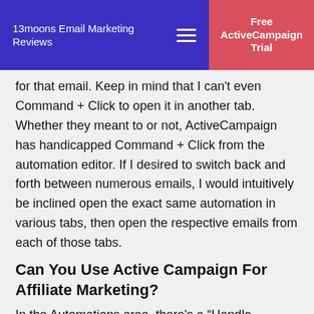13moons Email Marketing Reviews | Free ActiveCampaign Trial
for that email. Keep in mind that I can't even Command + Click to open it in another tab. Whether they meant to or not, ActiveCampaign has handicapped Command + Click from the automation editor. If I desired to switch back and forth between numerous emails, I would intuitively be inclined open the exact same automation in various tabs, then open the respective emails from each of those tabs.
Can You Use Active Campaign For Affiliate Marketing?
In the Automations area, there's a “Handle Messages” location. From here, you can see all of